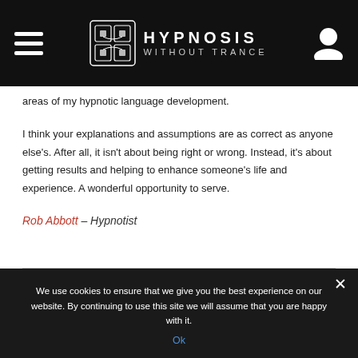HYPNOSIS WITHOUT TRANCE
areas of my hypnotic language development.
I think your explanations and assumptions are as correct as anyone else's. After all, it isn't about being right or wrong. Instead, it's about getting results and helping to enhance someone's life and experience. A wonderful opportunity to serve.
Rob Abbott – Hypnotist
We use cookies to ensure that we give you the best experience on our website. By continuing to use this site we will assume that you are happy with it.